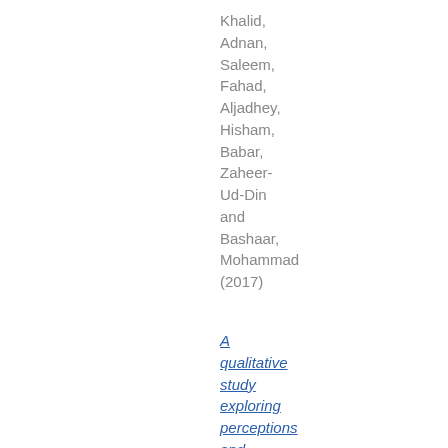Khalid, Adnan, Saleem, Fahad, Aljadhey, Hisham, Babar, Zaheer-Ud-Din and Bashaar, Mohammad (2017)
A qualitative study exploring perceptions and attitudes of